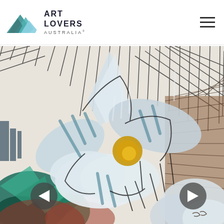Art Lovers Australia — navigation header with logo and hamburger menu
[Figure (illustration): Abstract expressionist painting of large white flowers with blue, teal, green, brown and cream petals against a background of energetic dark crosshatch brushstrokes. Bold, gestural style with vivid paint application. Navigation arrows overlaid on left and right sides.]